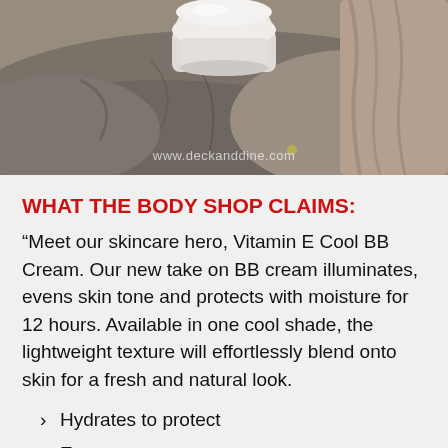[Figure (photo): A white cream jar/container resting on rough stone or driftwood surface, with watermark www.deckanddine.com at the bottom of the image.]
WHAT THE BODY SHOP CLAIMS:
“Meet our skincare hero, Vitamin E Cool BB Cream. Our new take on BB cream illuminates, evens skin tone and protects with moisture for 12 hours. Available in one cool shade, the lightweight texture will effortlessly blend onto skin for a fresh and natural look.
Hydrates to protect
Evens tone
Fresh-looking skin
One cool shade.”